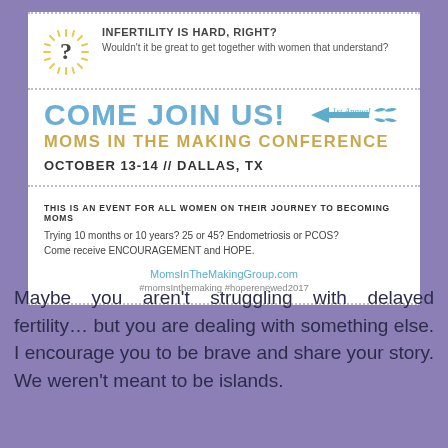[Figure (infographic): Moms in the Making Conference flyer with question mark sunburst icon, event title, date, location, and website info]
Maybe you aren't struggling with delayed fertility… but you are dealing with something else. I encourage you to be brave and share your story. We weren't meant to be islands.